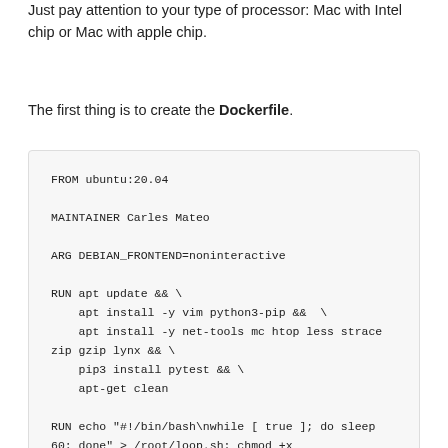Just pay attention to your type of processor: Mac with Intel chip or Mac with apple chip.
The first thing is to create the Dockerfile.
FROM ubuntu:20.04

MAINTAINER Carles Mateo

ARG DEBIAN_FRONTEND=noninteractive

RUN apt update && \
    apt install -y vim python3-pip &&  \
    apt install -y net-tools mc htop less strace zip gzip lynx && \
    pip3 install pytest && \
    apt-get clean

RUN echo "#!/bin/bash\nwhile [ true ]; do sleep 60; done" > /root/loop.sh; chmod +x